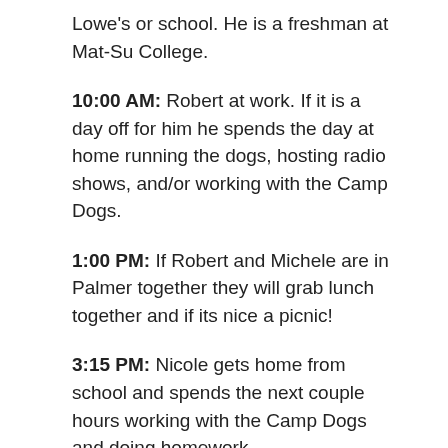Lowe's or school. He is a freshman at Mat-Su College.
10:00 AM: Robert at work. If it is a day off for him he spends the day at home running the dogs, hosting radio shows, and/or working with the Camp Dogs.
1:00 PM: If Robert and Michele are in Palmer together they will grab lunch together and if its nice a picnic!
3:15 PM: Nicole gets home from school and spends the next couple hours working with the Camp Dogs and doing homework.